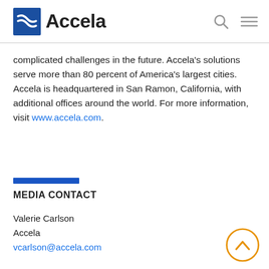[Figure (logo): Accela logo with blue wave icon and bold 'Accela' text, plus search and menu icons on the right]
complicated challenges in the future. Accela's solutions serve more than 80 percent of America's largest cities. Accela is headquartered in San Ramon, California, with additional offices around the world. For more information, visit www.accela.com.
MEDIA CONTACT
Valerie Carlson
Accela
vcarlson@accela.com